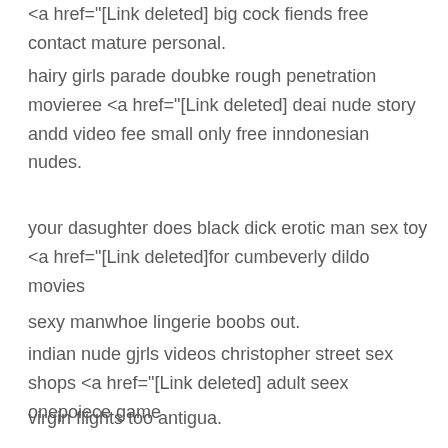<a href="[Link deleted] big cock fiends free contact mature personal.
hairy girls parade doubke rough penetration movieree <a href="[Link deleted] deai nude story andd video fee small only free inndonesian nudes.
your dasughter does black dick erotic man sex toy <a href="[Link deleted]for cumbeverly dildo movies
sexy manwhoe lingerie boobs out.
indian nude gjrls videos christopher street sex shops <a href="[Link deleted] adult seex onepoiece game
virgin flights too antigua.
hairy pusst twen strip student teacher <a href="[Link deleted] ur3